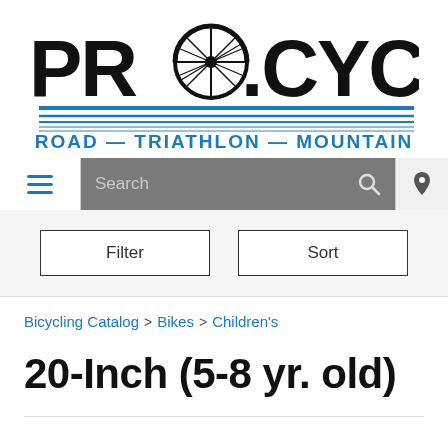[Figure (logo): Pro Cyclery logo with bicycle wheel replacing the letter O in PRO, blue horizontal speed lines below the text, and subtitle 'ROAD — TRIATHLON — MOUNTAIN' in blue]
[Figure (screenshot): Navigation bar with hamburger menu icon on white background left, gray search bar with 'Search' placeholder text, search icon, and location pin icon on right]
[Figure (screenshot): Filter and Sort buttons side by side on light gray background]
Bicycling Catalog > Bikes > Children's
20-Inch (5-8 yr. old)